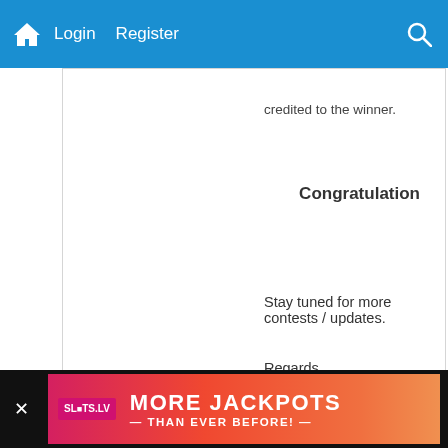Login  Register
credited to the winner.
Congratulation
Stay tuned for more contests / updates.
Regards,
[Figure (screenshot): SLOTS.LV advertisement banner: MORE JACKPOTS — THAN EVER BEFORE!]